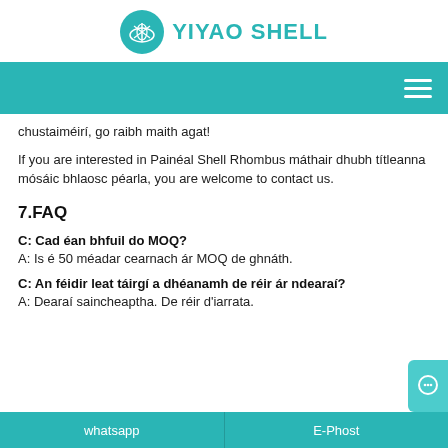YIYAO SHELL
chustaiméirí, go raibh maith agat!
If you are interested in Painéal Shell Rhombus máthair dhubh títleanna mósáic bhlaosc péarla, you are welcome to contact us.
7.FAQ
C: Cad éan bhfuil do MOQ?
A: Is é 50 méadar cearnach ár MOQ de ghnáth.
C: An féidir leat táirgí a dhéanamh de réir ár ndearaí?
A: Dearaí saincheaptha. De réir d'iarrata.
whatsapp    E-Phost